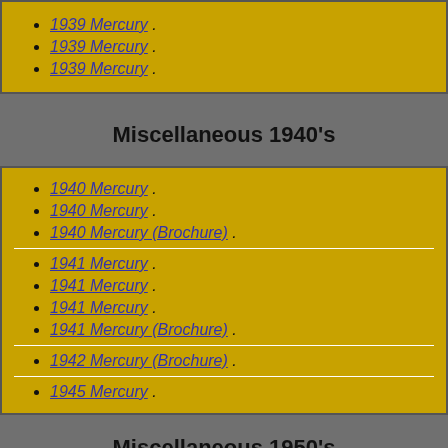1939 Mercury .
1939 Mercury .
1939 Mercury .
Miscellaneous 1940's
1940 Mercury .
1940 Mercury .
1940 Mercury (Brochure) .
1941 Mercury .
1941 Mercury .
1941 Mercury .
1941 Mercury (Brochure) .
1942 Mercury (Brochure) .
1945 Mercury .
Miscellaneous 1950's